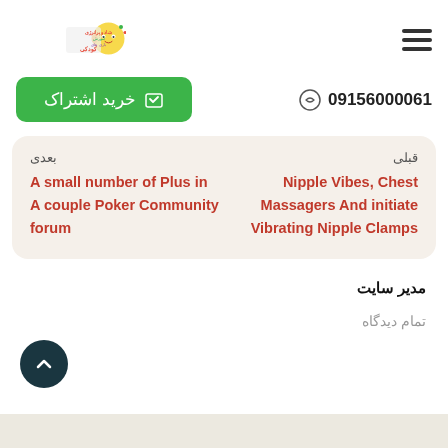[Figure (logo): Colorful Persian children's educational website logo with text in Persian]
09156000061
خرید اشتراک
قبلی
Nipple Vibes, Chest Massagers And initiate Vibrating Nipple Clamps
بعدی
A small number of Plus in A couple Poker Community forum
مدیر سایت
تمام دیدگاه